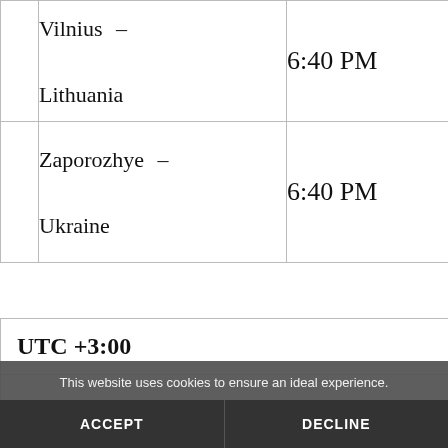|  | City/Country | Time |
| --- | --- | --- |
|  | Vilnius – Lithuania | 6:40 PM |
|  | Zaporozhye – Ukraine | 6:40 PM |
| UTC +3:00 |
| --- |
|  | Medina (partial) |
This website uses cookies to ensure an ideal experience.
ACCEPT
DECLINE